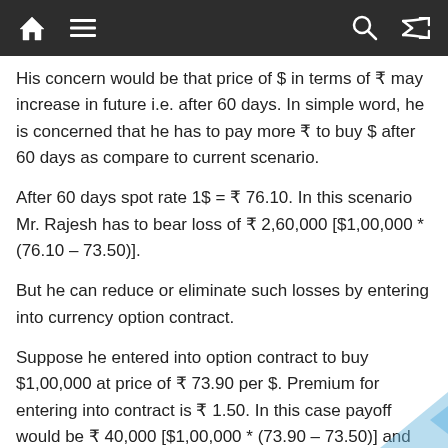Navigation bar with home, menu, search, and shuffle icons
His concern would be that price of $ in terms of ₹ may increase in future i.e. after 60 days. In simple word, he is concerned that he has to pay more ₹ to buy $ after 60 days as compare to current scenario.
After 60 days spot rate 1$ = ₹ 76.10. In this scenario Mr. Rajesh has to bear loss of ₹ 2,60,000 [$1,00,000 * (76.10 – 73.50)].
But he can reduce or eliminate such losses by entering into currency option contract.
Suppose he entered into option contract to buy $1,00,000 at price of ₹ 73.90 per $. Premium for entering into contract is ₹ 1.50. In this case payoff would be ₹ 40,000 [$1,00,000 * (73.90 – 73.50)] and net loss would be ₹ 1,90,000 [₹ 40,000 + ($1,00,000 *